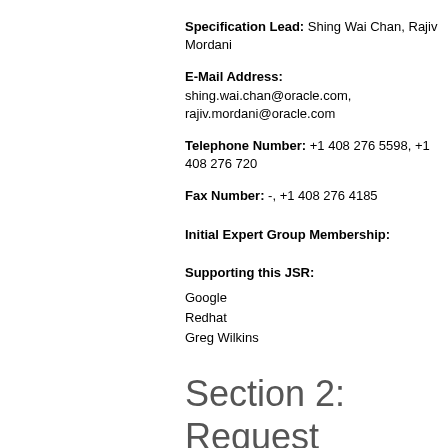Specification Lead: Shing Wai Chan, Rajiv Mordani
E-Mail Address: shing.wai.chan@oracle.com, rajiv.mordani@oracle.com
Telephone Number: +1 408 276 5598, +1 408 276 720
Fax Number: -, +1 408 276 4185
Initial Expert Group Membership:
Supporting this JSR:
Google
Redhat
Greg Wilkins
Section 2: Request
2.1 Please describe the proposed Specification:
This JSR is to develop the next version of Java Servlets Servlets 3.1 Specification. In Servlet 3.0 we made a lot progress in our goal towards Ease-of-Development, pluggability and security enhancements in the web tier. follow up to the release, in this release we plan to addre following areas of the Java Web container: